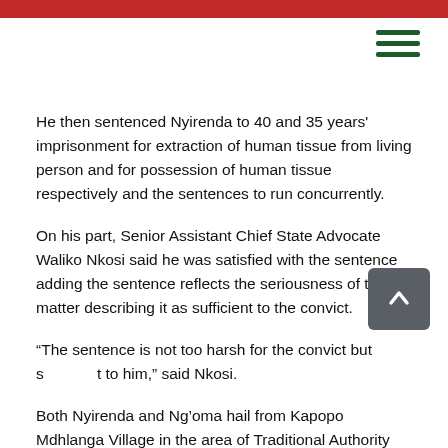He then sentenced Nyirenda to 40 and 35 years' imprisonment for extraction of human tissue from living person and for possession of human tissue respectively and the sentences to run concurrently.
On his part, Senior Assistant Chief State Advocate Waliko Nkosi said he was satisfied with the sentence adding the sentence reflects the seriousness of the matter describing it as sufficient to the convict.
“The sentence is not too harsh for the convict but sufficient to him,” said Nkosi.
Both Nyirenda and Ng’oma hail from Kapopo Mdhlanga Village in the area of Traditional Authority M’mbelwa in Mzimba District.